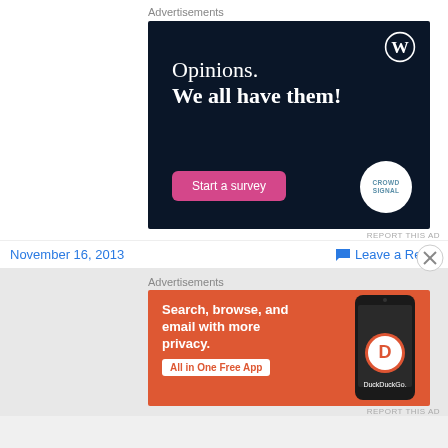Advertisements
[Figure (illustration): WordPress / Crowdsignal advertisement on dark navy background. Text: 'Opinions. We all have them!' with a pink 'Start a survey' button and Crowdsignal logo.]
REPORT THIS AD
November 16, 2013
Leave a Reply
Advertisements
[Figure (illustration): DuckDuckGo advertisement on orange background. Text: 'Search, browse, and email with more privacy.' with 'All in One Free App' badge and DuckDuckGo logo on phone mockup.]
REPORT THIS AD